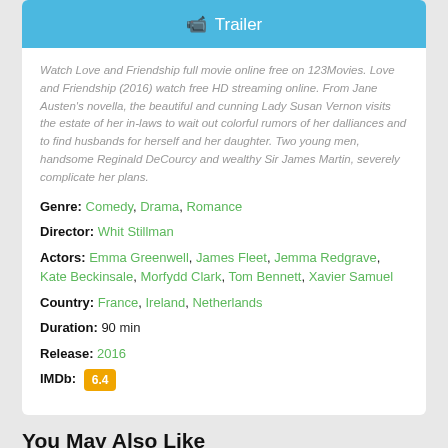[Figure (screenshot): Blue Trailer button with camera icon at top of white card]
Watch Love and Friendship full movie online free on 123Movies. Love and Friendship (2016) watch free HD streaming online. From Jane Austen's novella, the beautiful and cunning Lady Susan Vernon visits the estate of her in-laws to wait out colorful rumors of her dalliances and to find husbands for herself and her daughter. Two young men, handsome Reginald DeCourcy and wealthy Sir James Martin, severely complicate her plans.
Genre: Comedy, Drama, Romance
Director: Whit Stillman
Actors: Emma Greenwell, James Fleet, Jemma Redgrave, Kate Beckinsale, Morfydd Clark, Tom Bennett, Xavier Samuel
Country: France, Ireland, Netherlands
Duration: 90 min
Release: 2016
IMDb: 6.4
You May Also Like
[Figure (photo): Thumbnail of a blue painting/door against a brick wall background]
[Figure (photo): Thumbnail of a surreal scene with curtains, blue sky and clouds]